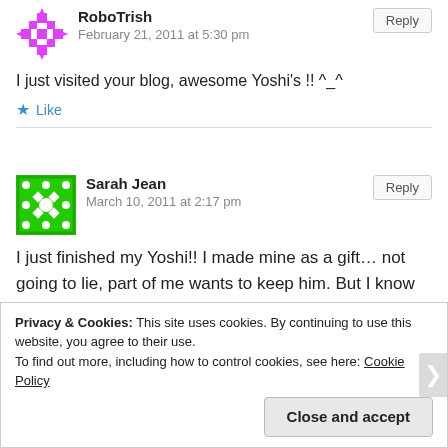RoboTrish
February 21, 2011 at 5:30 pm
I just visited your blog, awesome Yoshi's !! ^_^
Like
Sarah Jean
March 10, 2011 at 2:17 pm
I just finished my Yoshi!! I made mine as a gift... not going to lie, part of me wants to keep him. But I know my friend’s going to LOVE it! Here’s a picture!
Privacy & Cookies: This site uses cookies. By continuing to use this website, you agree to their use. To find out more, including how to control cookies, see here: Cookie Policy
Close and accept